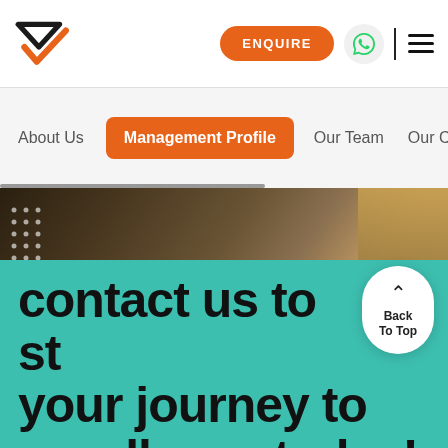ENQUIRE navigation header with logo, enquire button, whatsapp, hamburger menu
About Us
Management Profile
Our Team
Our Cu
[Figure (photo): Background photo of workshop/drafting table with tools, dark warm tones]
contact us to start your journey to excellence today!
Back To Top